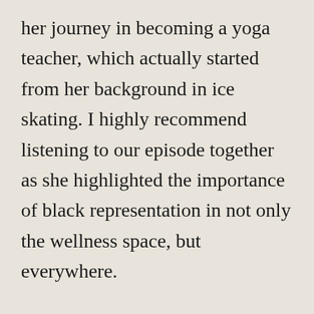her journey in becoming a yoga teacher, which actually started from her background in ice skating. I highly recommend listening to our episode together as she highlighted the importance of black representation in not only the wellness space, but everywhere.
Through the movement, Lauren has been going live with several other leaders in the community, using